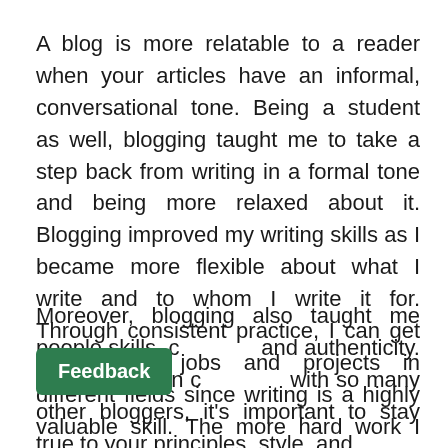A blog is more relatable to a reader when your articles have an informal, conversational tone. Being a student as well, blogging taught me to take a step back from writing in a formal tone and being more relaxed about it. Blogging improved my writing skills as I became more flexible about what I write and to whom I write it for. Through consistent practice, I can get into writing jobs and projects in different fields since writing is a highly valuable skill. The more hard work I invest into my blog, I can leverage it into business and pursue my author ambitions.
Moreover, blogging also taught me people skills, c and authenticity. When you're in c with so many other bloggers, it's important to stay true to your principles, style, and